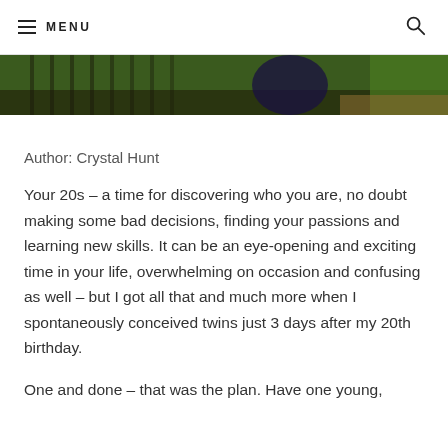MENU
[Figure (photo): Partial photo showing outdoor scene with trees/fence and a person in dark clothing, cropped at top of page]
Author: Crystal Hunt
Your 20s – a time for discovering who you are, no doubt making some bad decisions, finding your passions and learning new skills. It can be an eye-opening and exciting time in your life, overwhelming on occasion and confusing as well – but I got all that and much more when I spontaneously conceived twins just 3 days after my 20th birthday.
One and done – that was the plan. Have one young,